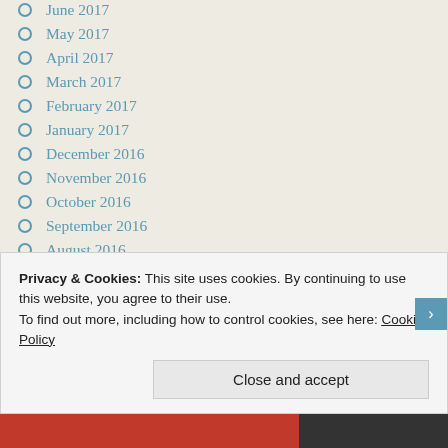June 2017
May 2017
April 2017
March 2017
February 2017
January 2017
December 2016
November 2016
October 2016
September 2016
August 2016
July 2016
June 2016
May 2016
April 2016
March 2016
Privacy & Cookies: This site uses cookies. By continuing to use this website, you agree to their use.
To find out more, including how to control cookies, see here: Cookie Policy
Close and accept